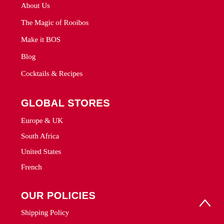About Us
The Magic of Rooibos
Make it BOS
Blog
Cocktails & Recipes
GLOBAL STORES
Europe & UK
South Africa
United States
French
OUR POLICIES
Shipping Policy
Privacy Policy – POPI
Refund Policy
Privacy Policy